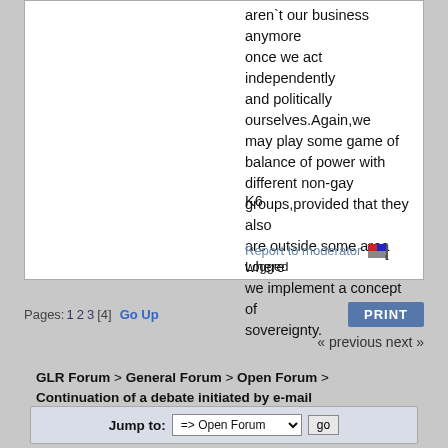aren`t our business anymore once we act independently and politically ourselves.Again,we may play some game of balance of power with different non-gay groups,provided that they also are outside some area where we implement a concept of sovereignty.
K6
Report to moderator   Logged
Pages: 1 2 3 [4]   Go Up
« previous next »
GLR Forum > General Forum > Open Forum > Continuation of a debate initiated by e-mail
Jump to: => Open Forum   go